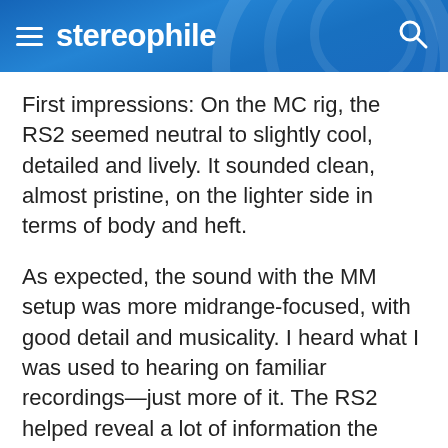stereophile
First impressions: On the MC rig, the RS2 seemed neutral to slightly cool, detailed and lively. It sounded clean, almost pristine, on the lighter side in terms of body and heft.
As expected, the sound with the MM setup was more midrange-focused, with good detail and musicality. I heard what I was used to hearing on familiar recordings—just more of it. The RS2 helped reveal a lot of information the cartridges unearthed from the grooves.
Much of Andrew Bird's My Finest Work Yet (Loma Vista LVR005557) was recorded live in Stevie